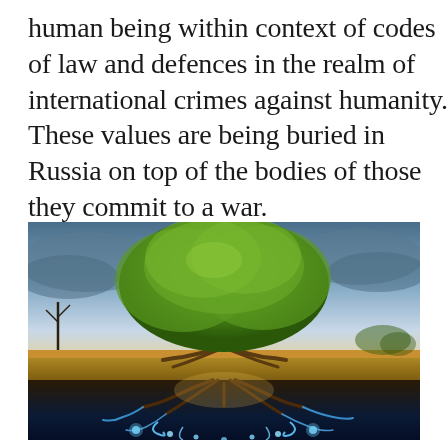human being within context of codes of law and defences in the realm of international crimes against humanity. These values are being buried in Russia on top of the bodies of those they commit to a war.
[Figure (illustration): A surreal digital illustration of a large green tree with a broad leafy canopy standing on a flat landscape. The sky above shows dramatic blue-grey clouds with golden light near the horizon. The tree's roots extend visibly below the ground surface into a dark subterranean layer where glowing blue bioluminescent tendrils and orbs intertwine with the roots, suggesting an underground energy or life force.]